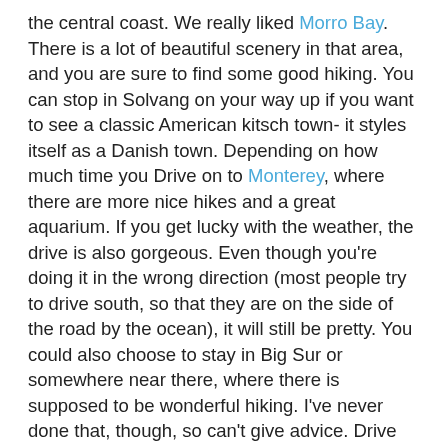the central coast. We really liked Morro Bay. There is a lot of beautiful scenery in that area, and you are sure to find some good hiking. You can stop in Solvang on your way up if you want to see a classic American kitsch town- it styles itself as a Danish town. Depending on how much time you Drive on to Monterey, where there are more nice hikes and a great aquarium. If you get lucky with the weather, the drive is also gorgeous. Even though you're doing it in the wrong direction (most people try to drive south, so that they are on the side of the road by the ocean), it will still be pretty. You could also choose to stay in Big Sur or somewhere near there, where there is supposed to be wonderful hiking. I've never done that, though, so can't give advice. Drive on to San Jose or San Francisco to fly out.
LAX itinerary 3: Arrive in LAX, and drive or take the train down to the San Diego area. Since you're after outdoorsy activities, I'd stay in north county, maybe in Leucadia for a beach town feel. Visit Legoland, which your daughter would be the perfect age to enjoy. Hike at Torrey Pines State Beach. If you want more hiking, you can drive inland to Julian, which is a cute little mountain tourist trap, with great